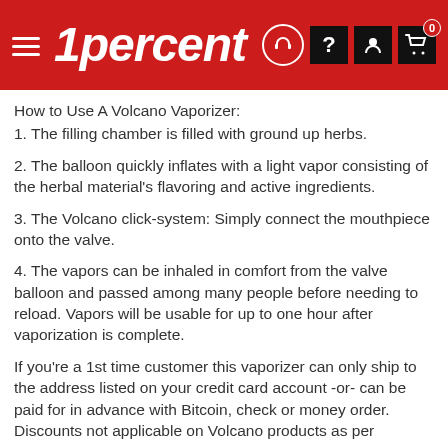1percent
How to Use A Volcano Vaporizer:
1. The filling chamber is filled with ground up herbs.
2. The balloon quickly inflates with a light vapor consisting of the herbal material's flavoring and active ingredients.
3. The Volcano click-system: Simply connect the mouthpiece onto the valve.
4. The vapors can be inhaled in comfort from the valve balloon and passed among many people before needing to reload. Vapors will be usable for up to one hour after vaporization is complete.
If you're a 1st time customer this vaporizer can only ship to the address listed on your credit card account -or- can be paid for in advance with Bitcoin, check or money order. Discounts not applicable on Volcano products as per